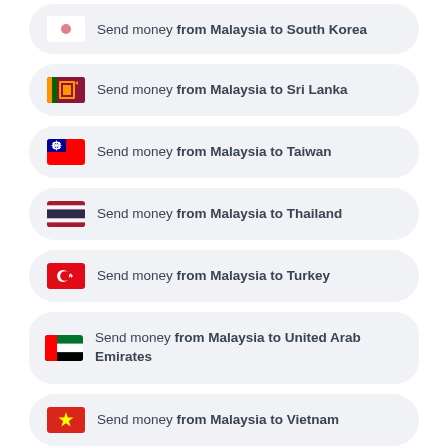Send money from Malaysia to South Korea (partial, cropped)
Send money from Malaysia to Sri Lanka
Send money from Malaysia to Taiwan
Send money from Malaysia to Thailand
Send money from Malaysia to Turkey
Send money from Malaysia to United Arab Emirates
Send money from Malaysia to Vietnam